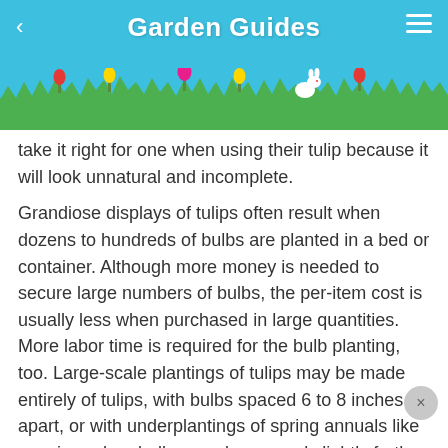Garden Guides
[Figure (illustration): Garden scene illustration with grass, flowers (red tulips, yellow tulips, pink tulip), a white rabbit, and a blue sky background]
take it right for one when using their tulip because it will look unnatural and incomplete.
Grandiose displays of tulips often result when dozens to hundreds of bulbs are planted in a bed or container. Although more money is needed to secure large numbers of bulbs, the per-item cost is usually less when purchased in large quantities. More labor time is required for the bulb planting, too. Large-scale plantings of tulips may be made entirely of tulips, with bulbs spaced 6 to 8 inches apart, or with underplantings of spring annuals like pansies, when bulbs may be spaced slightly further apart at 10 to 14 inches.